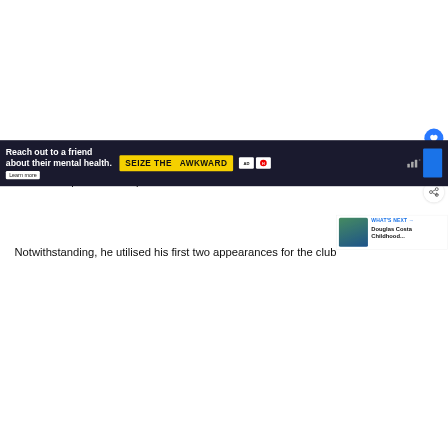[Figure (screenshot): White blank space at top of article page]
His career life with the Italian club suffered a setback, as he found it hard to adapt to the competitions that existed in Palermo's defence.
[Figure (screenshot): WHAT'S NEXT widget showing Douglas Costa Childhood...]
Notwithstanding, he utilised his first two appearances for the club...
[Figure (screenshot): Advertisement banner: Reach out to a friend about their mental health. SEIZE THE AWKWARD. Learn more.]